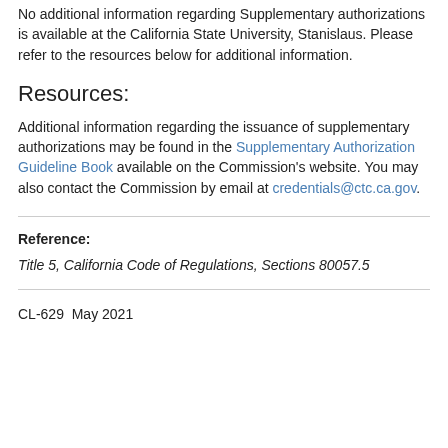No additional information regarding Supplementary authorizations is available at the California State University, Stanislaus. Please refer to the resources below for additional information.
Resources:
Additional information regarding the issuance of supplementary authorizations may be found in the Supplementary Authorization Guideline Book available on the Commission's website. You may also contact the Commission by email at credentials@ctc.ca.gov.
Reference:
Title 5, California Code of Regulations, Sections 80057.5
CL-629  May 2021